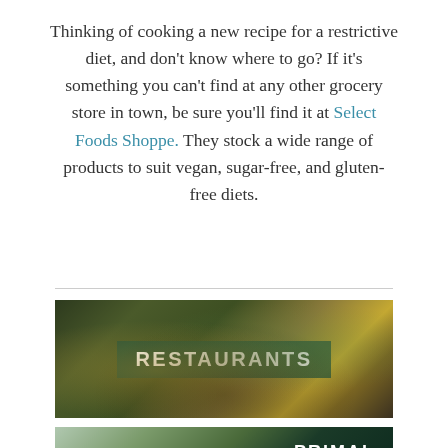Thinking of cooking a new recipe for a restrictive diet, and don't know where to go? If it's something you can't find at any other grocery store in town, be sure you'll find it at Select Foods Shoppe. They stock a wide range of products to suit vegan, sugar-free, and gluten-free diets.
[Figure (photo): A banner image showing a restaurant dining scene with food on a table and a person eating. Bold white text 'RESTAURANTS' on a dark green background overlay is centered on the image.]
[Figure (photo): A partially visible banner image showing a food scene with the word 'PRIMAL' visible in white bold text on the right side against a dark teal/green background.]